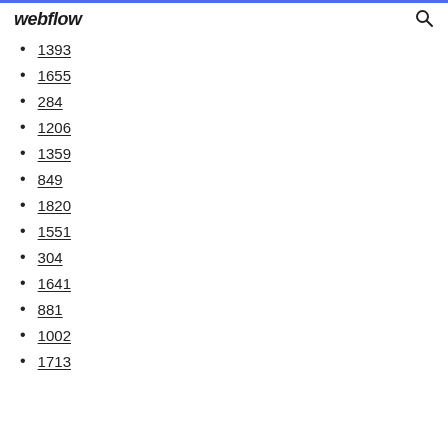webflow
1393
1655
284
1206
1359
849
1820
1551
304
1641
881
1002
1713